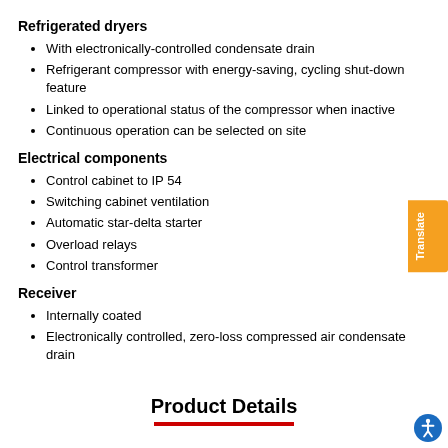Refrigerated dryers
With electronically-controlled condensate drain
Refrigerant compressor with energy-saving, cycling shut-down feature
Linked to operational status of the compressor when inactive
Continuous operation can be selected on site
Electrical components
Control cabinet to IP 54
Switching cabinet ventilation
Automatic star-delta starter
Overload relays
Control transformer
Receiver
Internally coated
Electronically controlled, zero-loss compressed air condensate drain
Product Details